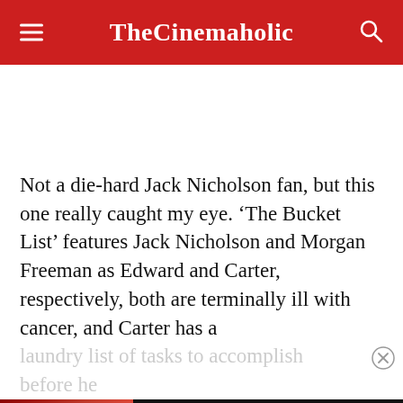TheCinemaholic
Not a die-hard Jack Nicholson fan, but this one really caught my eye. ‘The Bucket List’ features Jack Nicholson and Morgan Freeman as Edward and Carter, respectively, both are terminally ill with cancer, and Carter has a laundry list of tasks to accomplish before he kicks the bucket. Edward, being a multi-aire status symbol, offers Carter a chance to accomplish everything in Carter’s Bucket
[Figure (screenshot): Seamless food delivery advertisement banner with pizza image on left, seamless logo in red, and ORDER NOW button]